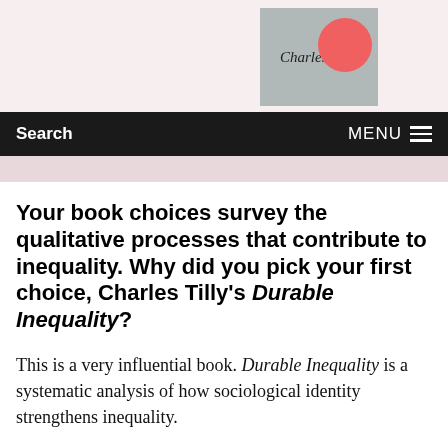[Figure (illustration): Book cover showing 'Charles Tilly' text on a grey/silver background with a red circle accent in top right]
Search    MENU
Your book choices survey the qualitative processes that contribute to inequality. Why did you pick your first choice, Charles Tilly's Durable Inequality?
This is a very influential book. Durable Inequality is a systematic analysis of how sociological identity strengthens inequality.
Tilly focuses on two main mechanisms. The first is opportunity hoarding, which means that in-groups attempt to reserve opportunities for themselves. For example, in the United States, typically the budget of schools in many towns is based on the